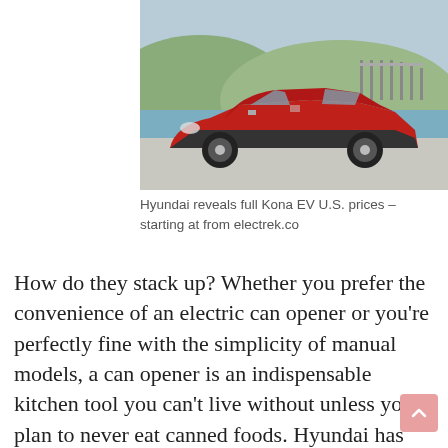[Figure (photo): Red Hyundai Kona EV SUV parked outdoors with water and hills in background]
Hyundai reveals full Kona EV U.S. prices – starting at from electrek.co
How do they stack up? Whether you prefer the convenience of an electric can opener or you're perfectly fine with the simplicity of manual models, a can opener is an indispensable kitchen tool you can't live without unless you plan to never eat canned foods. Hyundai has been upping its motorsports game rather dram. This midsize sedan offers a dramatic. The 2021 hyundai veloster is one of the coolest commuter cars on the market. They have the size that many people need, and they can be ideal for both regular commuti. Hyundai has a full line of suvs aimed at today's busy